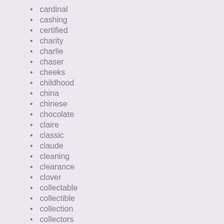cardinal
cashing
certified
charity
charlie
chaser
cheeks
childhood
china
chinese
chocolate
claire
classic
claude
cleaning
clearance
clover
collectable
collectible
collection
collectors